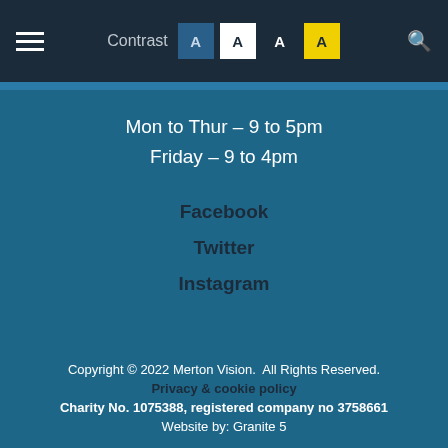Contrast A A A A [search]
Mon to Thur – 9 to 5pm
Friday – 9 to 4pm
Facebook
Twitter
Instagram
Copyright © 2022 Merton Vision.  All Rights Reserved.
Privacy & cookie policy
Charity No. 1075388, registered company no 3758661
Website by: Granite 5